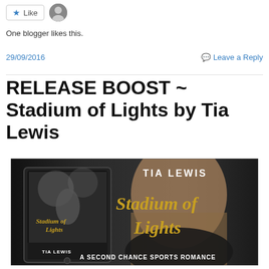[Figure (other): Like button with star icon and blogger avatar]
One blogger likes this.
29/09/2016   Leave a Reply
RELEASE BOOST ~ Stadium of Lights by Tia Lewis
[Figure (photo): Book promotional banner for 'Stadium of Lights' by Tia Lewis - A Second Chance Sports Romance. Shows a man's face, the book cover on a tablet, and gold script title text on dark background.]